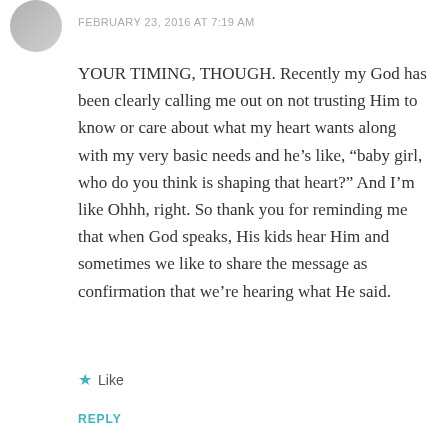[Figure (photo): Circular avatar photo of a person, partially visible at top left]
FEBRUARY 23, 2016 AT 7:19 AM
YOUR TIMING, THOUGH. Recently my God has been clearly calling me out on not trusting Him to know or care about what my heart wants along with my very basic needs and he’s like, “baby girl, who do you think is shaping that heart?” And I’m like Ohhh, right. So thank you for reminding me that when God speaks, His kids hear Him and sometimes we like to share the message as confirmation that we’re hearing what He said.
★ Like
REPLY